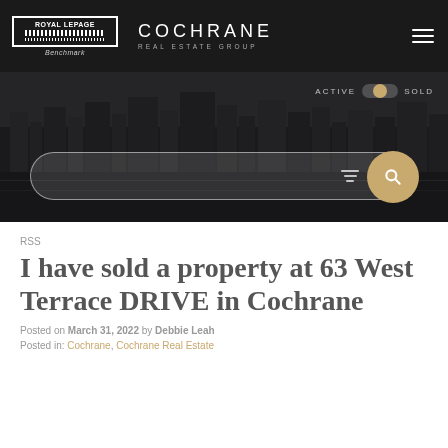[Figure (logo): Royal LePage Benchmark logo with Cochrane Real Estate Group wordmark and hamburger menu icon]
[Figure (screenshot): Dark city skyline banner with ACTIVE/SOLD toggle and search bar with filter icon and gold search button]
RSS
I have sold a property at 63 West Terrace DRIVE in Cochrane
Posted on March 31, 2022 by Debbie Leah
Posted in: Cochrane, Cochrane Real Estate